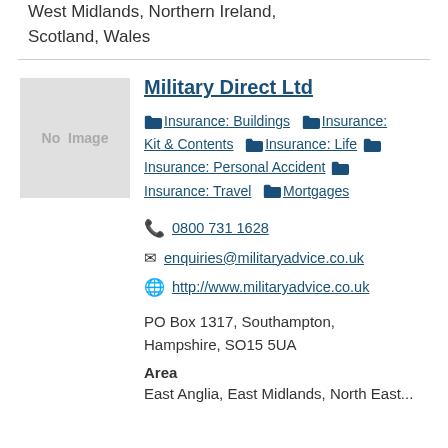West Midlands, Northern Ireland, Scotland, Wales
Military Direct Ltd
Insurance: Buildings  Insurance: Kit & Contents  Insurance: Life  Insurance: Personal Accident  Insurance: Travel  Mortgages
0800 731 1628
enquiries@militaryadvice.co.uk
http://www.militaryadvice.co.uk
PO Box 1317, Southampton, Hampshire, SO15 5UA
Area
East Anglia, East Midlands, North East...